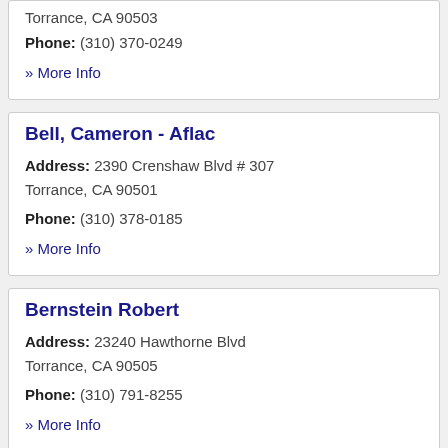Torrance, CA 90503
Phone: (310) 370-0249
» More Info
Bell, Cameron - Aflac
Address: 2390 Crenshaw Blvd # 307
Torrance, CA 90501
Phone: (310) 378-0185
» More Info
Bernstein Robert
Address: 23240 Hawthorne Blvd
Torrance, CA 90505
Phone: (310) 791-8255
» More Info